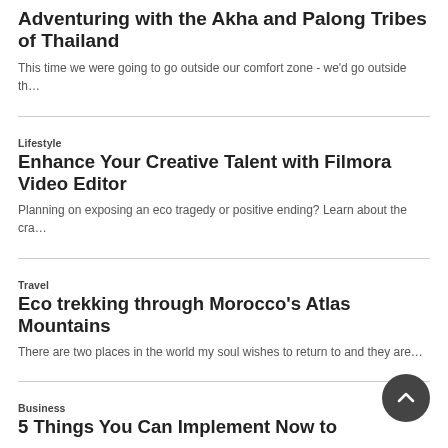Adventuring with the Akha and Palong Tribes of Thailand
This time we were going to go outside our comfort zone - we'd go outside th…
Lifestyle
Enhance Your Creative Talent with Filmora Video Editor
Planning on exposing an eco tragedy or positive ending? Learn about the cra…
Travel
Eco trekking through Morocco's Atlas Mountains
There are two places in the world my soul wishes to return to and they are…
Business
5 Things You Can Implement Now to